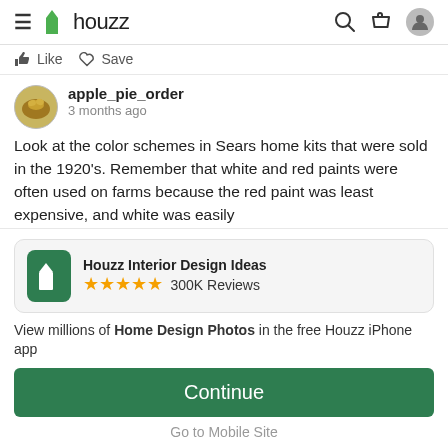houzz
Like  Save
apple_pie_order
3 months ago
Look at the color schemes in Sears home kits that were sold in the 1920's. Remember that white and red paints were often used on farms because the red paint was least expensive, and white was easily
[Figure (screenshot): Houzz app promotion card with green icon, 5 star rating, 300K Reviews, and Continue button]
View millions of Home Design Photos in the free Houzz iPhone app
Continue
Go to Mobile Site